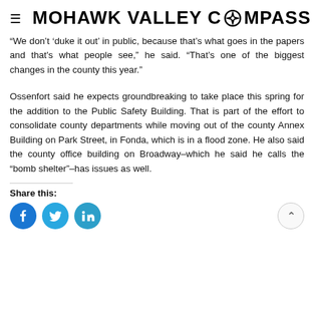MOHAWK VALLEY COMPASS
“We don’t ‘duke it out’ in public, because that’s what goes in the papers and that's what people see,” he said. “That’s one of the biggest changes in the county this year.”
Ossenfort said he expects groundbreaking to take place this spring for the addition to the Public Safety Building. That is part of the effort to consolidate county departments while moving out of the county Annex Building on Park Street, in Fonda, which is in a flood zone. He also said the county office building on Broadway–which he said he calls the “bomb shelter”–has issues as well.
Share this: